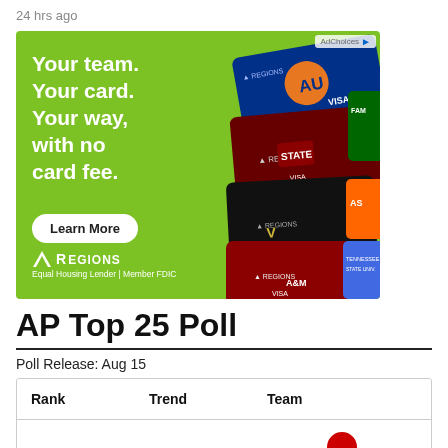24 hrs ago
[Figure (illustration): Regions Bank advertisement showing credit cards with college team logos. Text reads: Your team. Your card. Your way, with no card fee. Learn More. Regions Equal Housing Lender | Member FDIC]
AP Top 25 Poll
Poll Release: Aug 15
| Rank | Trend | Team |
| --- | --- | --- |